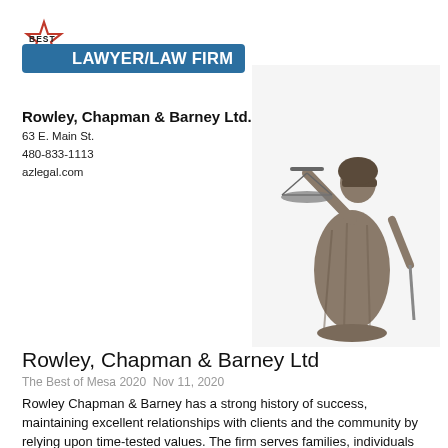[Figure (logo): Best Lawyer/Law Firm badge with red star outline and blue banner reading LAWYER/LAW FIRM]
Rowley, Chapman & Barney Ltd.
63 E. Main St.
480-833-1113
azlegal.com
[Figure (photo): Bronze statue of Lady Justice holding scales and sword on white background]
Rowley, Chapman & Barney Ltd
The Best of Mesa 2020  Nov 11, 2020
Rowley Chapman & Barney has a strong history of success, maintaining excellent relationships with clients and the community by relying upon time-tested values. The firm serves families, individuals and business owners, although each attorney at the firm